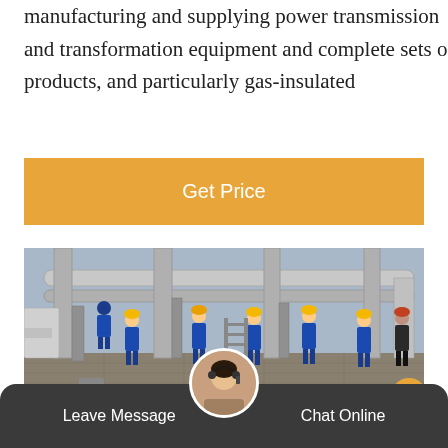manufacturing and supplying power transmission and transformation equipment and complete sets of products, and particularly gas-insulated
Get Price
[Figure (photo): Workers in blue uniforms and hard hats working on gas-insulated power transmission equipment at an outdoor substation. Several large cylindrical pipes and metal structures visible. Multiple workers visible across the site.]
Leave Message
Chat Online